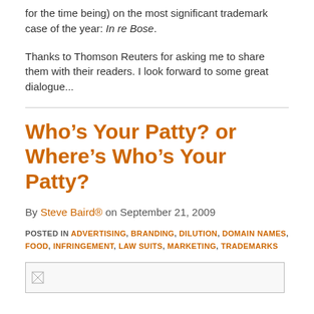for the time being) on the most significant trademark case of the year: In re Bose.
Thanks to Thomson Reuters for asking me to share them with their readers. I look forward to some great dialogue...
Who’s Your Patty? or Where’s Who’s Your Patty?
By Steve Baird® on September 21, 2009
POSTED IN ADVERTISING, BRANDING, DILUTION, DOMAIN NAMES, FOOD, INFRINGEMENT, LAW SUITS, MARKETING, TRADEMARKS
[Figure (other): Small broken image placeholder thumbnail]